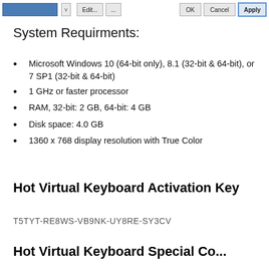[Figure (screenshot): Top portion of a Windows dialog box showing a blue element, Edit button, ellipsis button, OK, Cancel, and Apply buttons]
System Requirments:
Microsoft Windows 10 (64-bit only), 8.1 (32-bit & 64-bit), or 7 SP1 (32-bit & 64-bit)
1 GHz or faster processor
RAM, 32-bit: 2 GB, 64-bit: 4 GB
Disk space: 4.0 GB
1360 x 768 display resolution with True Color
Hot Virtual Keyboard Activation Key
T5TYT-RE8WS-VB9NK-UY8RE-SY3CV
Hot Virtual Keyboard Special Co...